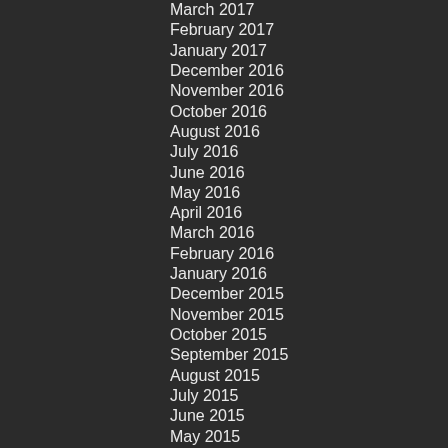March 2017
February 2017
January 2017
December 2016
November 2016
October 2016
August 2016
July 2016
June 2016
May 2016
April 2016
March 2016
February 2016
January 2016
December 2015
November 2015
October 2015
September 2015
August 2015
July 2015
June 2015
May 2015
April 2015
March 2015
February 2015